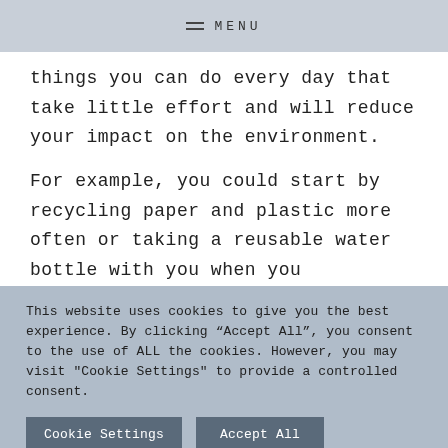MENU
things you can do every day that take little effort and will reduce your impact on the environment.
For example, you could start by recycling paper and plastic more often or taking a reusable water bottle with you when you
This website uses cookies to give you the best experience. By clicking “Accept All”, you consent to the use of ALL the cookies. However, you may visit "Cookie Settings" to provide a controlled consent.
Cookie Settings   Accept All